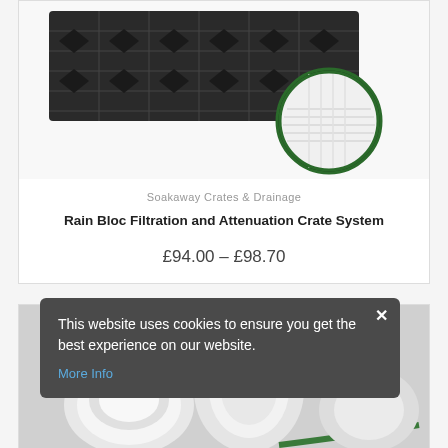[Figure (photo): Product photo showing black plastic soakaway crates with a circular inset showing white geotextile filtration fabric close-up]
Soakaway Crates & Drainage
Rain Bloc Filtration and Attenuation Crate System
£94.00 – £98.70
[Figure (photo): Product photo showing rolls of white plastic drainage pipe or geotextile wrap]
This website uses cookies to ensure you get the best experience on our website. More Info